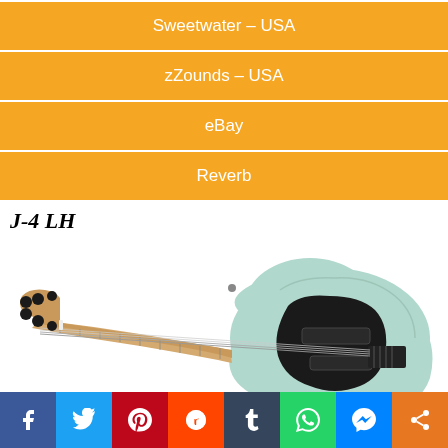Sweetwater – USA
zZounds – USA
eBay
Reverb
J-4 LH
[Figure (photo): A light mint/seafoam green J-style bass guitar with black pickguard, maple neck and fretboard, black tuners, and black hardware, photographed against a white background.]
Made in Indonesia
Specs:
[Figure (infographic): Social media share bar with icons for Facebook, Twitter, Pinterest, Reddit, Tumblr, WhatsApp, Messenger, and Share.]